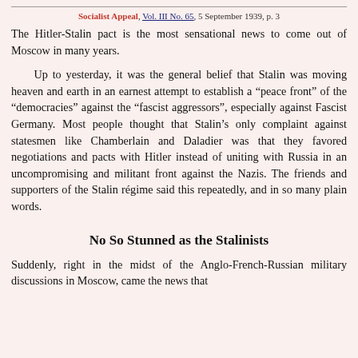Socialist Appeal, Vol. III No. 65, 5 September 1939, p. 3
The Hitler-Stalin pact is the most sensational news to come out of Moscow in many years.
Up to yesterday, it was the general belief that Stalin was moving heaven and earth in an earnest attempt to establish a “peace front” of the “democracies” against the “fascist aggressors”, especially against Fascist Germany. Most people thought that Stalin’s only complaint against statesmen like Chamberlain and Daladier was that they favored negotiations and pacts with Hitler instead of uniting with Russia in an uncompromising and militant front against the Nazis. The friends and supporters of the Stalin régime said this repeatedly, and in so many plain words.
No So Stunned as the Stalinists
Suddenly, right in the midst of the Anglo-French-Russian military discussions in Moscow, came the news that